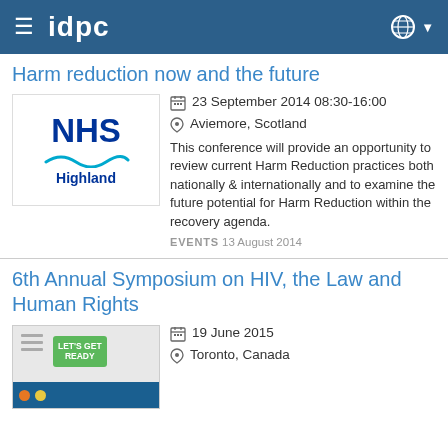idpc
Harm reduction now and the future
[Figure (logo): NHS Highland logo with blue text and wave graphic]
23 September 2014 08:30-16:00
Aviemore, Scotland
This conference will provide an opportunity to review current Harm Reduction practices both nationally & internationally and to examine the future potential for Harm Reduction within the recovery agenda.
EVENTS 13 August 2014
6th Annual Symposium on HIV, the Law and Human Rights
[Figure (illustration): Conference promotional image with Let's Get Ready badge, coloured circles and blue banner]
19 June 2015
Toronto, Canada